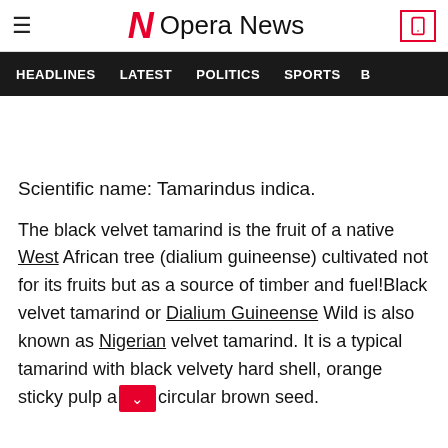Opera News
HEADLINES   LATEST   POLITICS   SPORTS   B
Scientific name: Tamarindus indica.
The black velvet tamarind is the fruit of a native West African tree (dialium guineense) cultivated not for its fruits but as a source of timber and fuel!Black velvet tamarind or Dialium Guineense Wild is also known as Nigerian velvet tamarind. It is a typical tamarind with black velvety hard shell, orange sticky pulp a[nd] circular brown seed.